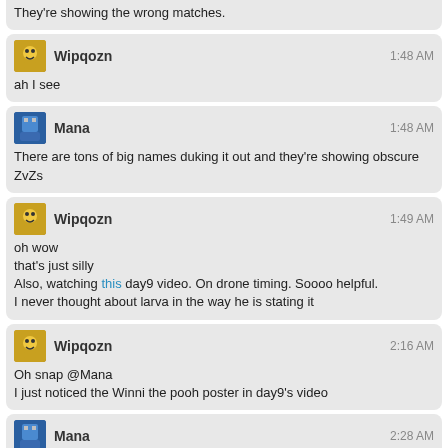They're showing the wrong matches.
Wipqozn  1:48 AM
ah I see
Mana  1:48 AM
There are tons of big names duking it out and they're showing obscure ZvZs
Wipqozn  1:49 AM
oh wow
that's just silly
Also, watching this day9 video. On drone timing. Soooo helpful.
I never thought about larva in the way he is stating it
Wipqozn  2:16 AM
Oh snap @Mana
I just noticed the Winni the pooh poster in day9's video
Mana  2:28 AM
@Wipqozn hahaha
he is quite the hilarious guy.
Lazers  2:35 AM
Q: What are the most lucrative planetary materials to produce?